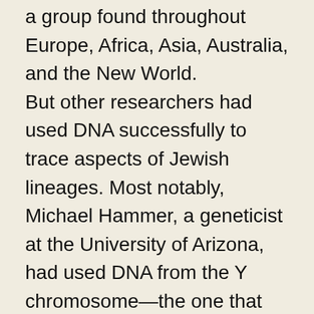a group found throughout Europe, Africa, Asia, Australia, and the New World. But other researchers had used DNA successfully to trace aspects of Jewish lineages. Most notably, Michael Hammer, a geneticist at the University of Arizona, had used DNA from the Y chromosome—the one that men have and women don't—to show genetic support for the Bible's account of a Jewish male priestly caste, the Cohanim. In 1997, Hammer's team reported that a particular DNA sequence on the Y chromosome could be found in more than 98 percent of men who identified themselves as